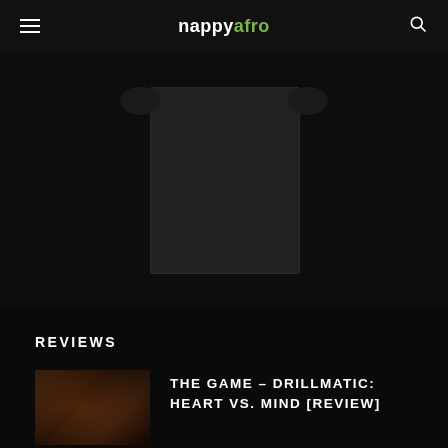nappyafro
[Figure (photo): Dark album cover or artwork displayed centrally against a near-black background, with partial clothing or sleeve elements visible at the top sides]
REVIEWS
[Figure (photo): Thumbnail image of a person, dark toned, for The Game – Drillmatic: Heart vs. Mind review]
THE GAME – DRILLMATIC: HEART VS. MIND [REVIEW]